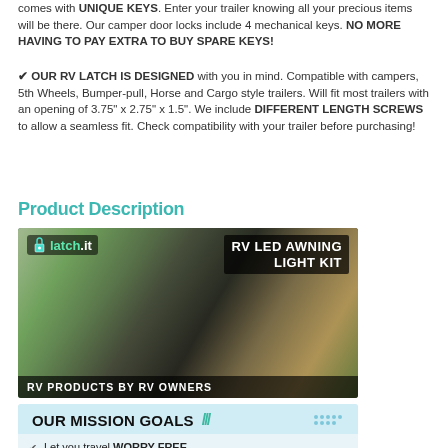comes with UNIQUE KEYS. Enter your trailer knowing all your precious items will be there. Our camper door locks include 4 mechanical keys. NO MORE HAVING TO PAY EXTRA TO BUY SPARE KEYS!
✔ OUR RV LATCH IS DESIGNED with you in mind. Compatible with campers, 5th Wheels, Bumper-pull, Horse and Cargo style trailers. Will fit most trailers with an opening of 3.75" x 2.75" x 1.5". We include DIFFERENT LENGTH SCREWS to allow a seamless fit. Check compatibility with your trailer before purchasing!
Product Description
[Figure (photo): RV LED Awning Light Kit advertisement showing an RV with awning lights, latch.it brand logo, text 'RV LED AWNING LIGHT KIT' and 'RV PRODUCTS BY RV OWNERS']
[Figure (infographic): Our Mission Goals infographic with checkmarks listing: Let you travel WORRY FREE., Give you the PEACE OF MIND you deserve!, Help you ENJOY TIME with your family anywhere!]